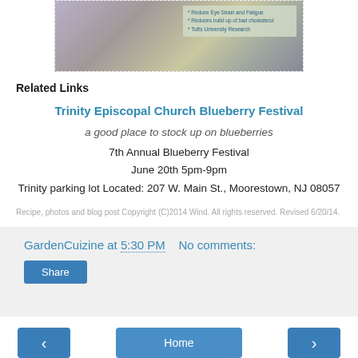[Figure (photo): Partial image at top showing a blueberry smoothie/drink and product label text about reducing eye strain, cholesterol, Tufts University Research]
Related Links
Trinity Episcopal Church Blueberry Festival
a good place to stock up on blueberries
7th Annual Blueberry Festival
June 20th 5pm-9pm
Trinity parking lot Located: 207 W. Main St., Moorestown, NJ 08057
Recipe, photos and blog post Copyright (C)2014 Wind. All rights reserved. Revised 6/20/14.
GardenCuizine at 5:30 PM   No comments:
Share
Home
View web version
Powered by Blogger.